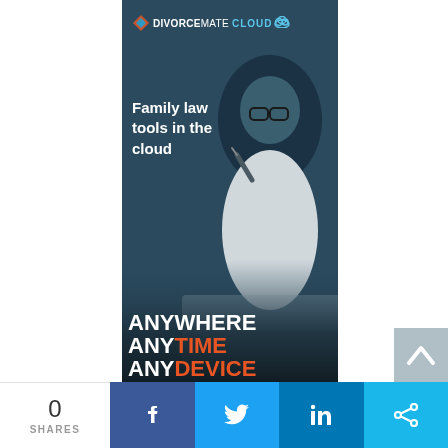[Figure (illustration): DivorceMate Cloud advertisement banner featuring a woman with glasses looking at a laptop, dark blue teal overlay, with tagline 'Family law tools in the cloud' and bold text 'ANYWHERE ANYTIME ANYDEVICE']
0 SHARES